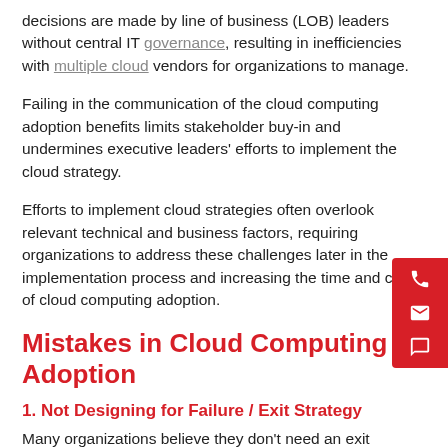decisions are made by line of business (LOB) leaders without central IT governance, resulting in inefficiencies with multiple cloud vendors for organizations to manage.
Failing in the communication of the cloud computing adoption benefits limits stakeholder buy-in and undermines executive leaders' efforts to implement the cloud strategy.
Efforts to implement cloud strategies often overlook relevant technical and business factors, requiring organizations to address these challenges later in the implementation process and increasing the time and cost of cloud computing adoption.
Mistakes in Cloud Computing Adoption
1. Not Designing for Failure / Exit Strategy
Many organizations believe they don't need an exit...